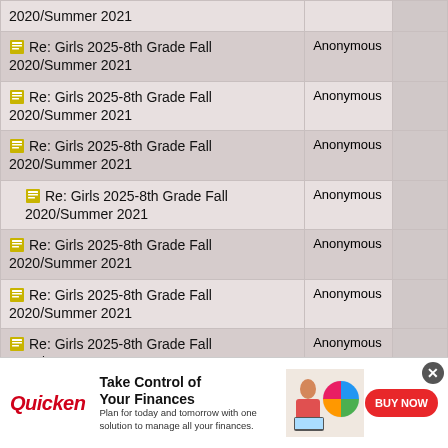| Topic | Author |  |
| --- | --- | --- |
| Re: Girls 2025-8th Grade Fall 2020/Summer 2021 | Anonymous |  |
| Re: Girls 2025-8th Grade Fall 2020/Summer 2021 | Anonymous |  |
| Re: Girls 2025-8th Grade Fall 2020/Summer 2021 | Anonymous |  |
| Re: Girls 2025-8th Grade Fall 2020/Summer 2021 | Anonymous |  |
| Re: Girls 2025-8th Grade Fall 2020/Summer 2021 | Anonymous |  |
| Re: Girls 2025-8th Grade Fall 2020/Summer 2021 | Anonymous |  |
| Re: Girls 2025-8th Grade Fall 2020/Summer 2021 | Anonymous |  |
| Re: Girls 2025-8th Grade Fall 2020/Summer 2021 | Anonymous |  |
[Figure (infographic): Quicken advertisement banner: Take Control of Your Finances - BUY NOW button, showing a woman at a laptop with a pie chart graphic]